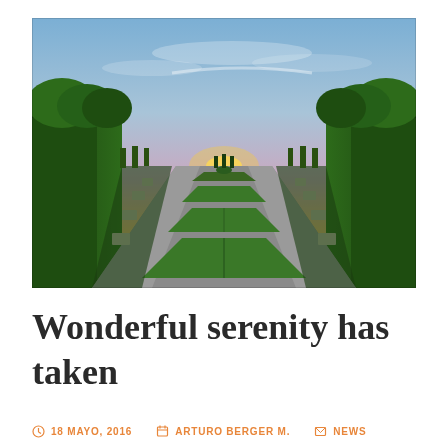[Figure (photo): Aerial or elevated view of a formal garden with rectangular green hedged plots arranged symmetrically in perspective, flanked by rows of tall green trees on both sides, with a colorful sunset sky (orange, pink, purple, blue) in the background and a long central path leading to the horizon.]
Wonderful serenity has taken
18 MAYO, 2016   ARTURO BERGER M.   NEWS